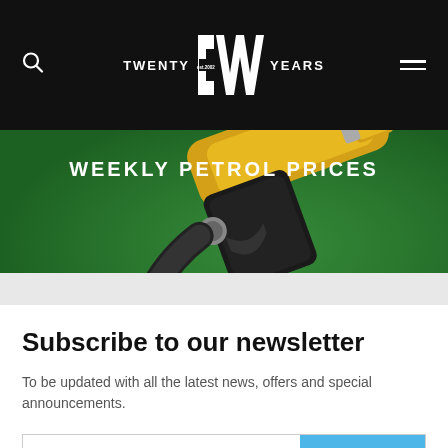TWENTY CW est.2002 YEARS
[Figure (photo): Yellow fuel pump nozzle on green background with text 'WEEKLY PETROL PRICES']
Subscribe to our newsletter
To be updated with all the latest news, offers and special announcements.